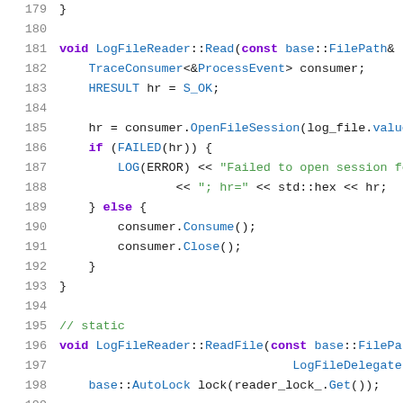Code snippet showing C++ source lines 179-200, including LogFileReader::Read and LogFileReader::ReadFile methods